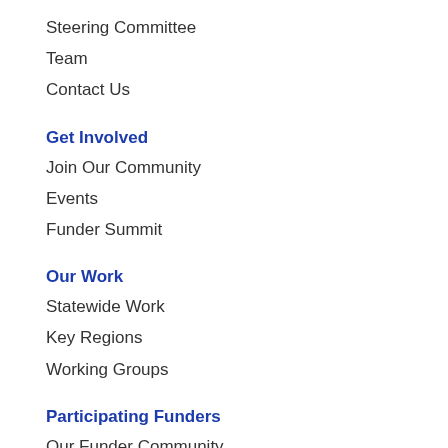Steering Committee
Team
Contact Us
Get Involved
Join Our Community
Events
Funder Summit
Our Work
Statewide Work
Key Regions
Working Groups
Participating Funders
Our Funder Community
Partners
[Figure (logo): Twitter bird icon in teal/cyan circle]